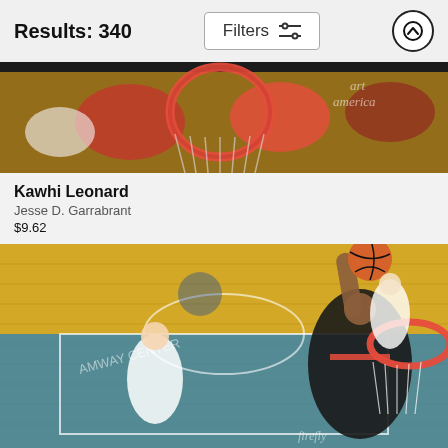Results: 340
[Figure (photo): Aerial view of NBA basketball action near the hoop, players in red uniforms, art america watermark]
Kawhi Leonard
Jesse D. Garrabrant
$9.62
[Figure (photo): NBA basketball player in black Portland Trail Blazers uniform reaching up to dunk near orange rim, Blue painted court in background with Orlando Magic players, aerial view, firefly watermark]